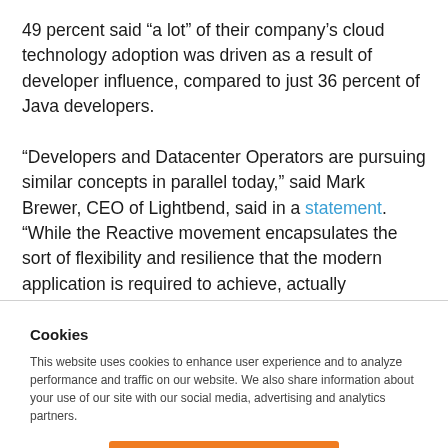49 percent said “a lot” of their company’s cloud technology adoption was driven as a result of developer influence, compared to just 36 percent of Java developers. “Developers and Datacenter Operators are pursuing similar concepts in parallel today,” said Mark Brewer, CEO of Lightbend, said in a statement. “While the Reactive movement encapsulates the sort of flexibility and resilience that the modern application is required to achieve, actually
Cookies
This website uses cookies to enhance user experience and to analyze performance and traffic on our website. We also share information about your use of our site with our social media, advertising and analytics partners.
Accept Cookies
Do Not Sell My Personal Information